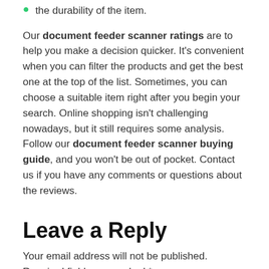the durability of the item.
Our document feeder scanner ratings are to help you make a decision quicker. It's convenient when you can filter the products and get the best one at the top of the list. Sometimes, you can choose a suitable item right after you begin your search. Online shopping isn't challenging nowadays, but it still requires some analysis. Follow our document feeder scanner buying guide, and you won't be out of pocket. Contact us if you have any comments or questions about the reviews.
Leave a Reply
Your email address will not be published. Required fields are marked *